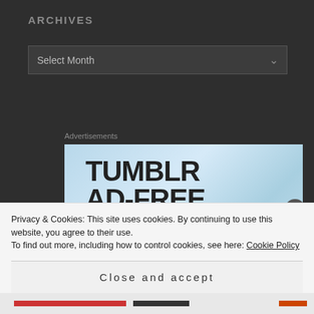ARCHIVES
Select Month
Advertisements
[Figure (illustration): Advertisement banner with text 'TUMBLR AD-FREE BROWSING' on a light blue gradient background with a decorative blue curl in the bottom-right corner.]
Privacy & Cookies: This site uses cookies. By continuing to use this website, you agree to their use.
To find out more, including how to control cookies, see here: Cookie Policy
Close and accept